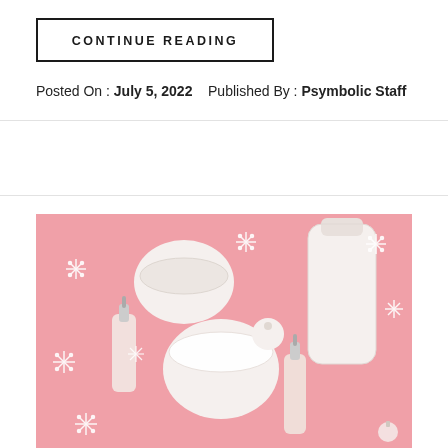CONTINUE READING
Posted On : July 5, 2022   Published By : Psymbolic Staff
[Figure (photo): Flat lay of white skincare and cosmetic products (cream jars, dropper bottles, lotion bottle) arranged on a pink background with white snowflake decorations and small white Christmas ornament balls.]